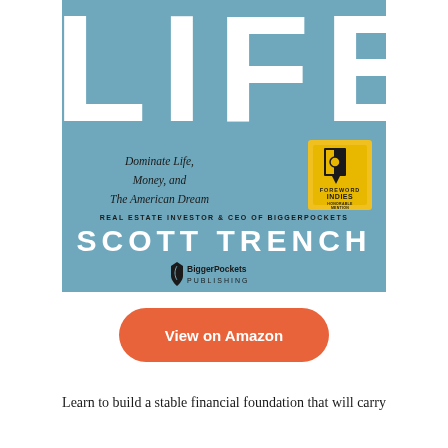[Figure (illustration): Book cover for 'Set for Life' by Scott Trench. Steel blue background with large white 'LIFE' text at top, subtitle 'Dominate Life, Money, and The American Dream' in italic, a Foreword Indies Honorable Mention badge, author label 'Real Estate Investor & CEO of BiggerPockets', author name 'SCOTT TRENCH' in large white bold letters, and BiggerPockets Publishing logo at the bottom.]
View on Amazon
Learn to build a stable financial foundation that will carry